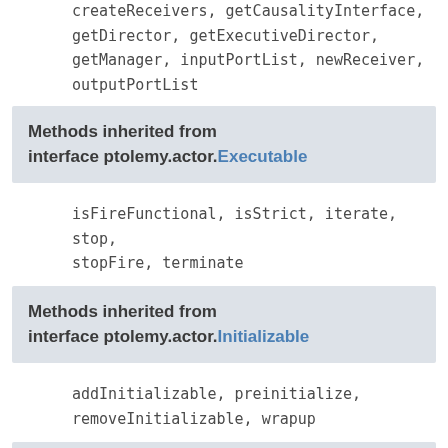createReceivers, getCausalityInterface, getDirector, getExecutiveDirector, getManager, inputPortList, newReceiver, outputPortList
Methods inherited from interface ptolemy.actor.Executable
isFireFunctional, isStrict, iterate, stop, stopFire, terminate
Methods inherited from interface ptolemy.actor.Initializable
addInitializable, preinitialize, removeInitializable, wrapup
Methods inherited from interface ptolemy.kernel.util.Nameable
description, getContainer, getDisplayName, getFullName, getName, getName, setName